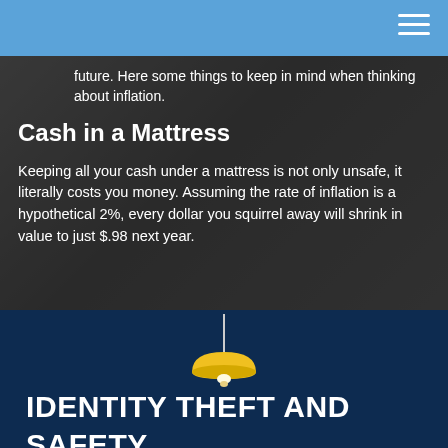future. Here some things to keep in mind when thinking about inflation.
Cash in a Mattress
Keeping all your cash under a mattress is not only unsafe, it literally costs you money. Assuming the rate of inflation is a hypothetical 2%, every dollar you squirrel away will shrink in value to just $.98 next year.
[Figure (illustration): Yellow pendant lamp hanging from a cord against a dark navy background]
IDENTITY THEFT AND SAFETY